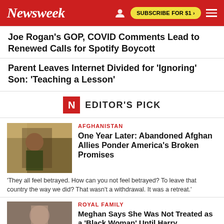Newsweek
Joe Rogan's GOP, COVID Comments Lead to Renewed Calls for Spotify Boycott
Parent Leaves Internet Divided for 'Ignoring' Son: 'Teaching a Lesson'
EDITOR'S PICK
AFGHANISTAN
One Year Later: Abandoned Afghan Allies Ponder America's Broken Promises
'They all feel betrayed. How can you not feel betrayed? To leave that country the way we did? That wasn't a withdrawal. It was a retreat.'
ROYAL FAMILY
Meghan Says She Was Not Treated as a 'Black Woman' Until Harry Relationship